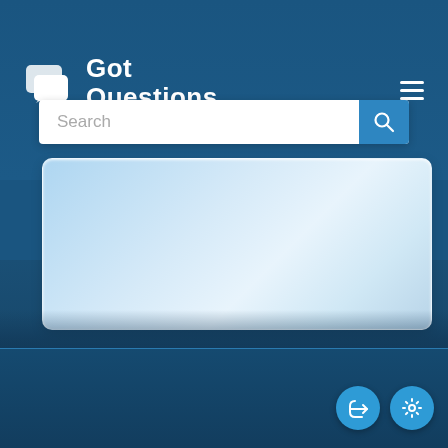[Figure (logo): GotQuestions logo with chat bubble icons and text 'Got Questions - Your Questions. Biblical Answers.']
[Figure (screenshot): Search input box with placeholder text 'Search' and a blue search button with magnifying glass icon]
[Figure (other): Light blue rounded content panel below search bar, gradient from light blue to white-grey]
[Figure (other): Two circular action buttons (share and settings) in bottom right corner on dark blue background]